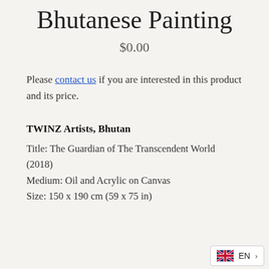Bhutanese Painting
$0.00
Please contact us if you are interested in this product and its price.
TWINZ Artists, Bhutan
Title: The Guardian of The Transcendent World (2018)
Medium: Oil and Acrylic on Canvas
Size: 150 x 190 cm (59 x 75 in)